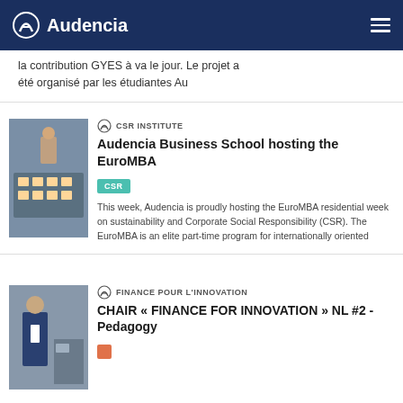Audencia
la contribution GYES à va le jour. Le projet a été organisé par les étudiantes Au
Audencia Business School hosting the EuroMBA
CSR INSTITUTE
CSR
This week, Audencia is proudly hosting the EuroMBA residential week on sustainability and Corporate Social Responsibility (CSR). The EuroMBA is an elite part-time program for internationally oriented
CHAIR « FINANCE FOR INNOVATION » NL #2 - Pedagogy
FINANCE POUR L'INNOVATION